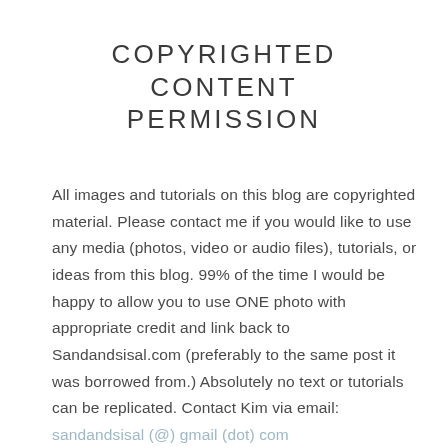COPYRIGHTED CONTENT PERMISSION
All images and tutorials on this blog are copyrighted material. Please contact me if you would like to use any media (photos, video or audio files), tutorials, or ideas from this blog. 99% of the time I would be happy to allow you to use ONE photo with appropriate credit and link back to Sandandsisal.com (preferably to the same post it was borrowed from.) Absolutely no text or tutorials can be replicated. Contact Kim via email: sandandsisal (@) gmail (dot) com